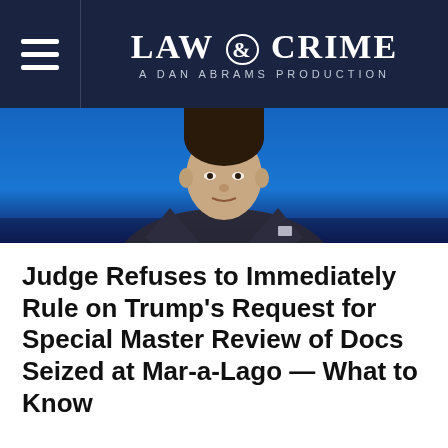LAW & CRIME — A DAN ABRAMS PRODUCTION
[Figure (photo): Photo of a man in a dark suit with a red tie against a blue background, cropped from the shoulders up]
Judge Refuses to Immediately Rule on Trump's Request for Special Master Review of Docs Seized at Mar-a-Lago — What to Know